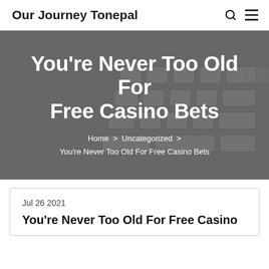Our Journey Tonepal
You’re Never Too Old For Free Casino Bets
Home > Uncategorized > You’re Never Too Old For Free Casino Bets
Jul 26 2021
You’re Never Too Old For Free Casino